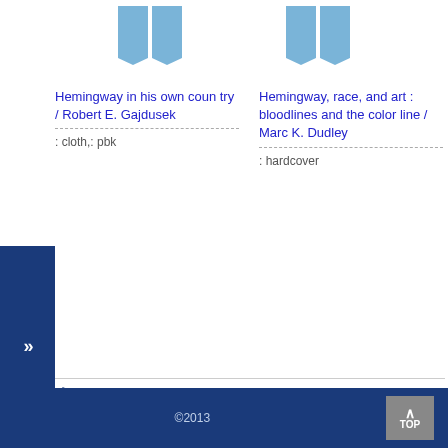[Figure (illustration): Two blue book icons side by side at the top of the page — left pair and right pair of open book pages]
Hemingway in his own country / Robert E. Gajdusek
: cloth,: pbk
Hemingway, race, and art : bloodlines and the color line / Marc K. Dudley
: hardcover
»
©2013 　　　　　TOP